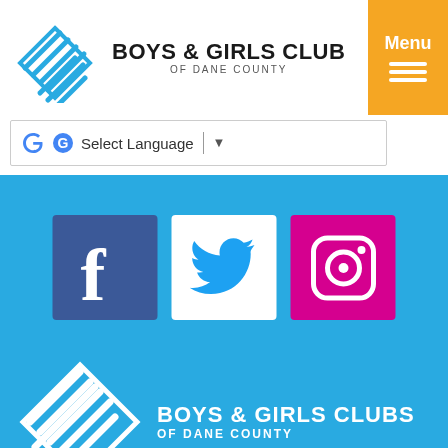[Figure (logo): Boys & Girls Club of Dane County logo with interlocking hands in blue and organization name]
[Figure (screenshot): Google Translate Select Language widget]
[Figure (logo): Social media icons: Facebook (dark blue), Twitter (white bg with blue bird), Instagram (pink/magenta)]
[Figure (logo): Boys & Girls Clubs of Dane County white logo on blue background]
[Figure (logo): City of Madison seal and another organizational badge shown at bottom on light gray background]